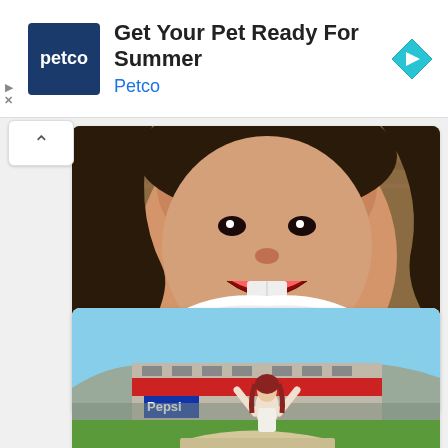[Figure (infographic): Petco advertisement banner with Petco logo (blue square with 'petco' in white), headline 'Get Your Pet Ready For Summer', brand name 'Petco' in blue, and a blue diamond arrow icon on the right. Small play and close (X) controls on the left.]
[Figure (photo): Close-up childhood photo of a young girl with dark hair, missing front teeth, wearing a white frilly dress, mouth open, background appears to be wicker/rattan.]
33 Celebs Photos From Their Childhood: Will You Recognize Them?
Brainberries
[Figure (photo): Photo of a woman with long red hair standing on top of a car with arms raised in celebration, wearing a white racing suit, at what appears to be a racing event. A crowd and buildings with red trim are visible in the background.]